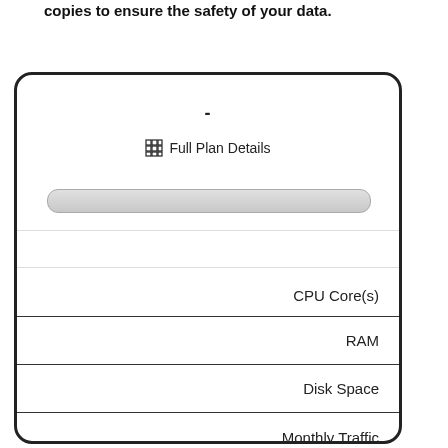copies to ensure the safety of your data.
-
⊞ Full Plan Details
[Figure (other): A pill-shaped grey button/bar element]
| CPU Core(s) | RAM | Disk Space | Monthly Traffic |
| --- | --- | --- | --- |